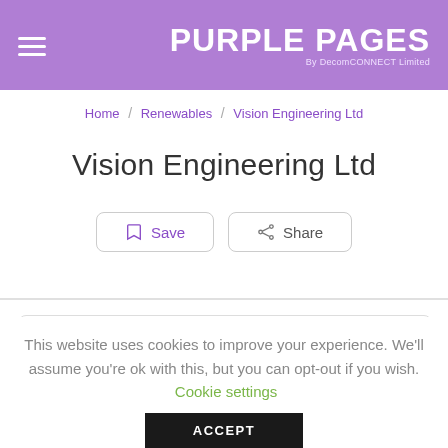PURPLE PAGES By DecomCONNECT Limited
Home / Renewables / Vision Engineering Ltd
Vision Engineering Ltd
Save  Share
This website uses cookies to improve your experience. We'll assume you're ok with this, but you can opt-out if you wish. Cookie settings ACCEPT